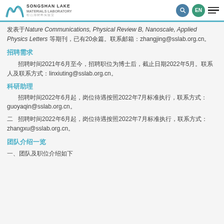Songshan Lake Materials Laboratory
发表于Nature Communications, Physical Review B, Nanoscale, Applied Physics Letters 等期刊，已有20余篇。联系邮箱：zhangjing@sslab.org.cn。
招聘需求
招聘时间2021年6月至今，招聘职位为博士后，截止日期2022年5月。联系人及联系方式：linxiuting@sslab.org.cn。
科研助理
招聘时间2022年6月起，岗位待遇按照2022年7月标准执行，联系方式：guoyaqin@sslab.org.cn。
二、招聘时间2022年6月起，岗位待遇按照2022年7月标准执行，联系方式：zhangxu@sslab.org.cn。
团队介绍一览
一、团队及职位介绍如下